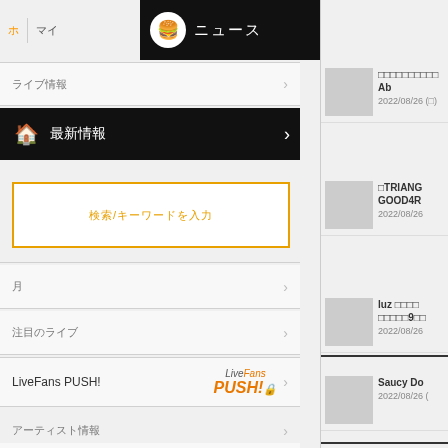top navigation bar with icon and Japanese text
Japanese menu row 1
Japanese section bar - house icon
Input/search field with orange border
メニュー row
Japanese sub-menu row
LiveFans PUSH!
Japanese menu row 2
Japanese menu row 3
Japanese menu row 4
AAAAb 2022/08/26
TRIANG GOOD4R 2022/08/26
luz 9000 2022/08/26
Saucy Do 2022/08/26